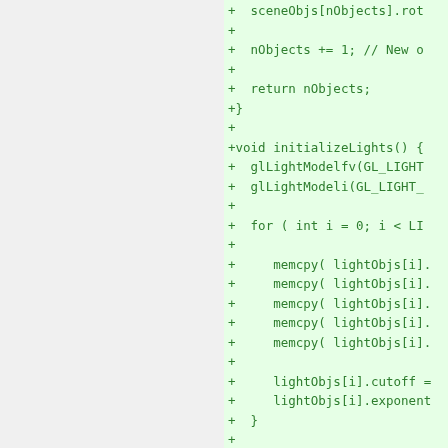[Figure (screenshot): A code diff view showing added lines (green background) of C/C++ source code for a 3D scene initialization function. The left half of the page is grey (no content). The right half shows green-highlighted code lines starting with '+' character, including fragments of sceneObjs array assignment, nObjects increment, return statement, closing brace, initializeLights() function definition, glLightModelfv and glLightModeli calls, a for loop, multiple memcpy calls on lightObjs array elements, lightObjs[i].cutoff and lightObjs[i].exponent assignments, closing braces.]